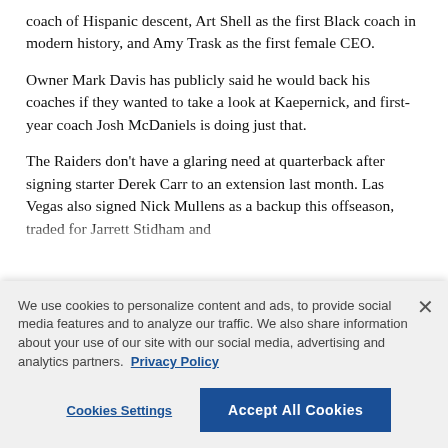coach of Hispanic descent, Art Shell as the first Black coach in modern history, and Amy Trask as the first female CEO.
Owner Mark Davis has publicly said he would back his coaches if they wanted to take a look at Kaepernick, and first-year coach Josh McDaniels is doing just that.
The Raiders don't have a glaring need at quarterback after signing starter Derek Carr to an extension last month. Las Vegas also signed Nick Mullens as a backup this offseason, traded for Jarrett Stidham and
We use cookies to personalize content and ads, to provide social media features and to analyze our traffic. We also share information about your use of our site with our social media, advertising and analytics partners. Privacy Policy
Cookies Settings
Accept All Cookies